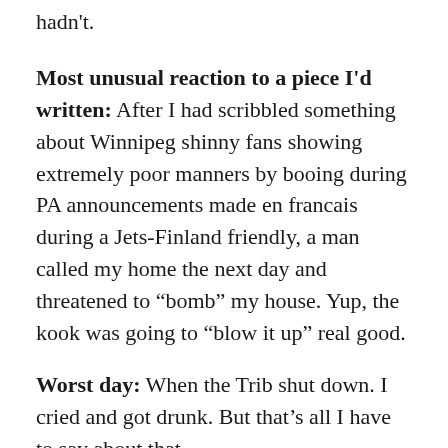hadn't.
Most unusual reaction to a piece I'd written: After I had scribbled something about Winnipeg shinny fans showing extremely poor manners by booing during PA announcements made en francais during a Jets-Finland friendly, a man called my home the next day and threatened to "bomb" my house. Yup, the kook was going to "blow it up" real good.
Worst day: When the Trib shut down. I cried and got drunk. But that's all I have to say about that.
Favorite desker: Dave Connors, aka Homer. I would tell him how I wanted the sports front or